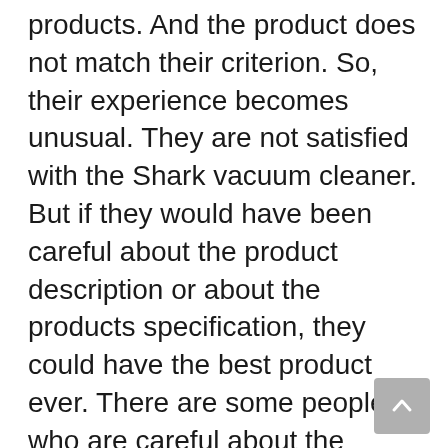products. And the product does not match their criterion. So, their experience becomes unusual. They are not satisfied with the Shark vacuum cleaner. But if they would have been careful about the product description or about the products specification, they could have the best product ever. There are some people who are careful about the issue. Before they finally decide to have any Shark vacuum cleaner, they go through the product descriptions carefully. They get their necessary product and for that reason get served for a long time. The key idea is that you should read the product description and specifications carefully before you get any vacuum cleaner for your home.